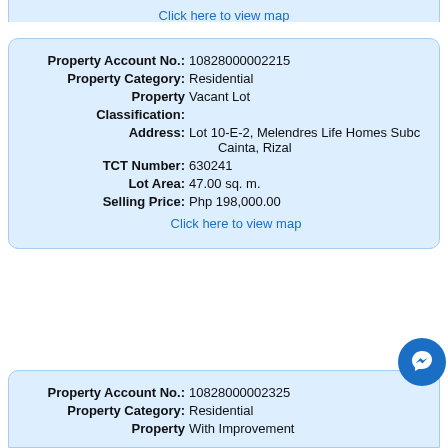Click here to view map
Property Account No.: 10828000002215
Property Category: Residential
Property Classification: Vacant Lot
Address: Lot 10-E-2, Melendres Life Homes Subd., Cainta, Rizal
TCT Number: 630241
Lot Area: 47.00 sq. m.
Selling Price: Php 198,000.00
Click here to view map
Property Account No.: 10828000002325
Property Category: Residential
Property: With Improvement